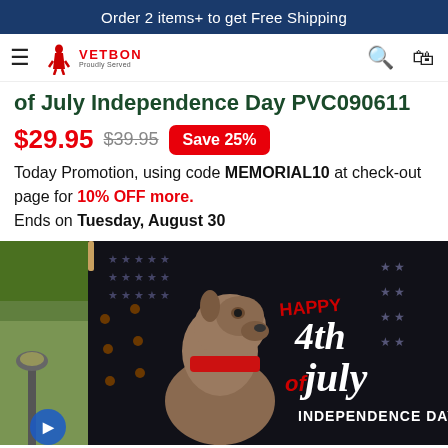Order 2 items+ to get Free Shipping
[Figure (logo): Vetbon brand logo with red soldier figure and brand name]
of July Independence Day PVC090611
$29.95  $39.95  Save 25%
Today Promotion, using code MEMORIAL10 at check-out page for 10% OFF more. Ends on Tuesday, August 30
[Figure (photo): A garden flag with a dog (Pit Bull/Cane Corso) and sunflowers on a black background with stars, reading Happy 4th of July Independence Day, hanging outdoors near trees and a lamp post]